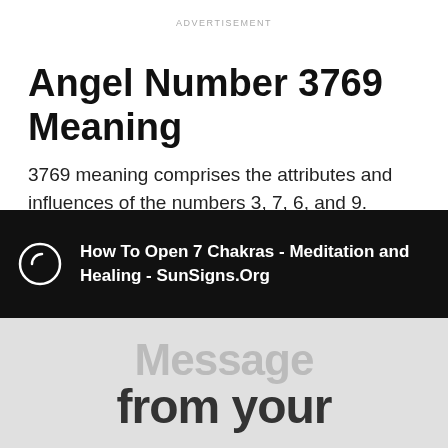ADVERTISEMENT
Angel Number 3769 Meaning
3769 meaning comprises the attributes and influences of the numbers 3, 7, 6, and 9. Number 3 encourages you to be grateful for the blessings in your life.
-ADVERTISEMENT-
Angel Number 7 is a sign of optimism and perseverance.
[Figure (infographic): Black banner ad with circular icon on left and white bold text reading 'How To Open 7 Chakras - Meditation and Healing - SunSigns.Org']
[Figure (illustration): Partial image showing text 'Message from your' in large gray/dark font on light background]